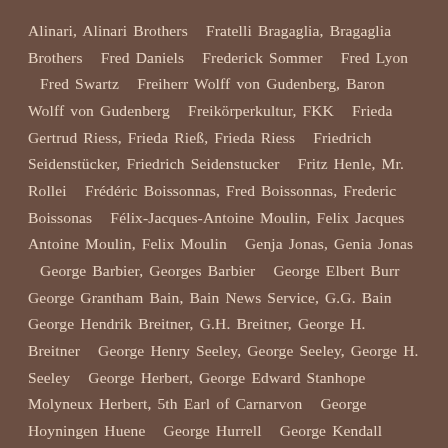Alinari, Alinari Brothers  Fratelli Bragaglia, Bragaglia Brothers  Fred Daniels  Frederick Sommer  Fred Lyon  Fred Swartz  Freiherr Wolff von Gudenberg, Baron Wolff von Gudenberg  Freikörperkultur, FKK  Frieda Gertrud Riess, Frieda Rieß, Frieda Riess  Friedrich Seidenstücker, Friedrich Seidenstucker  Fritz Henle, Mr. Rollei  Frédéric Boissonnas, Fred Boissonnas, Frederic Boissonas  Félix-Jacques-Antoine Moulin, Felix Jacques Antoine Moulin, Felix Moulin  Genja Jonas, Genia Jonas  George Barbier, Georges Barbier  George Elbert Burr  George Grantham Bain, Bain News Service, G.G. Bain  George Hendrik Breitner, G.H. Breitner, George H. Breitner  George Henry Seeley, George Seeley, George H. Seeley  George Herbert, George Edward Stanhope Molyneux Herbert, 5th Earl of Carnarvon  George Hoyningen Huene  George Hurrell  George Kendall Warren  George Moffett, Moffett Studio  George P. Hommel  George